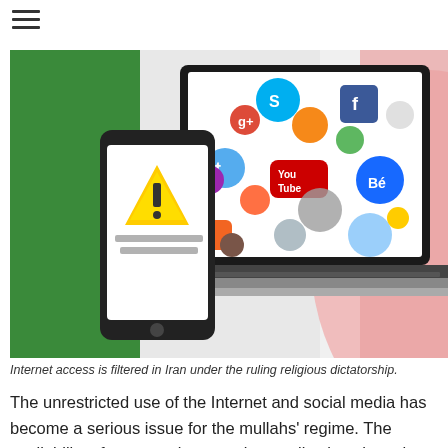[Figure (photo): Illustration of internet censorship in Iran: a smartphone showing a warning triangle/hazard sign on screen with Persian text, in front of a laptop displaying colorful social media app icons (Facebook, YouTube, Skype, Twitter, Behance, Reddit, and others) against a background with green and red/pink colors resembling the Iranian flag.]
Internet access is filtered in Iran under the ruling religious dictatorship.
The unrestricted use of the Internet and social media has become a serious issue for the mullahs' regime. The availability of encrypted messaging applications has given the Iranian people the ability to bypass